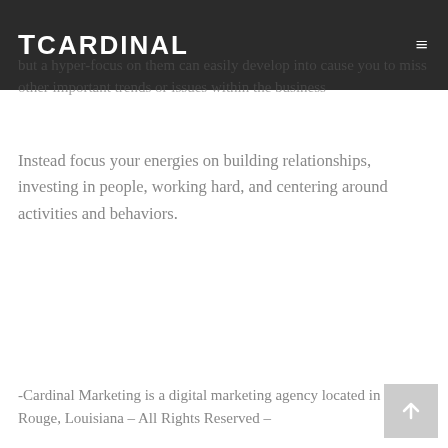CARDINAL
but a hyper-focus on them can easily develop into cause you to miss other important trends or issues within the business
Instead focus your energies on building relationships, investing in people, working hard, and centering around activities and behaviors.
-Cardinal Marketing is a digital marketing agency located in Baton Rouge, Louisiana – All Rights Reserved –